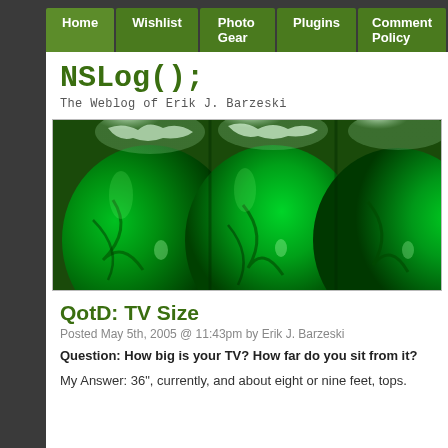Home | Wishlist | Photo Gear | Plugins | Comment Policy
NSLog();
The Weblog of Erik J. Barzeski
[Figure (photo): Close-up photograph of wine glasses filled with bright green liquid, showing ice and splashing water at the top, creating a vivid green color effect]
QotD: TV Size
Posted May 5th, 2005 @ 11:43pm by Erik J. Barzeski
Question: How big is your TV? How far do you sit from it?
My Answer: 36", currently, and about eight or nine feet, tops.